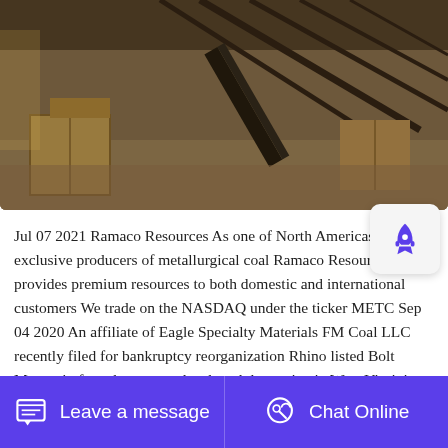[Figure (photo): Industrial coal processing facility interior showing conveyor belts, steel framework, and wooden crates on a dirt floor inside a large warehouse-like structure]
Jul 07 2021 Ramaco Resources As one of North Americas only exclusive producers of metallurgical coal Ramaco Resources provides premium resources to both domestic and international customers We trade on the NASDAQ under the ticker METC Sep 04 2020 An affiliate of Eagle Specialty Materials FM Coal LLC recently filed for bankruptcy reorganization Rhino listed Bolt Mountain for sale as an undeveloped deep mine in West Virginia The site hosts metallurgical coal reserves and resources of 339 million tons and has annual production potential of 2 million tons
Leave a message   Chat Online